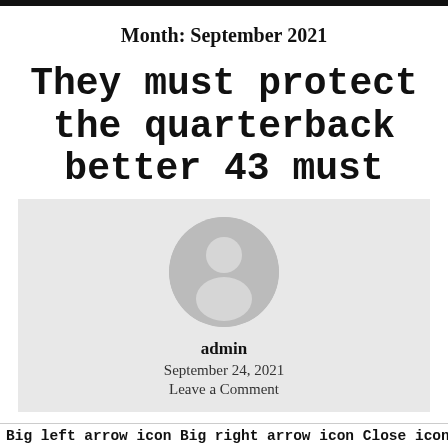Month: September 2021
They must protect the quarterback better 43 must
[Figure (illustration): Gray circular avatar with default user silhouette icon (head and shoulders), centered in a light gray card box.]
admin
September 24, 2021
Leave a Comment
Menu
Big left arrow icon Big right arrow icon Close icon Copy